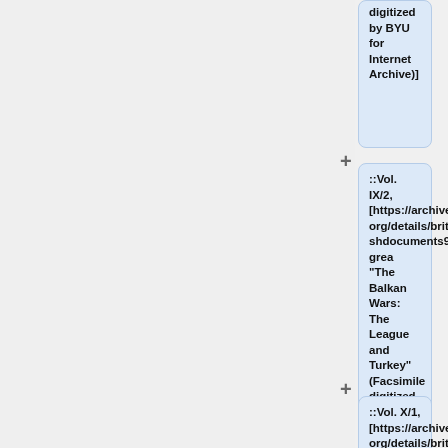digitized by BYU for Internet Archive)]
::Vol. IX/2, [https://archive.org/details/britishdocuments92grea "The Balkan Wars: The League and Turkey" (Facsimile digitized by BYU for Internet Archive)]
::Vol. X/1, [https://archive.org/details/britishdocuments101grea "The Near and Middle East on the Eve